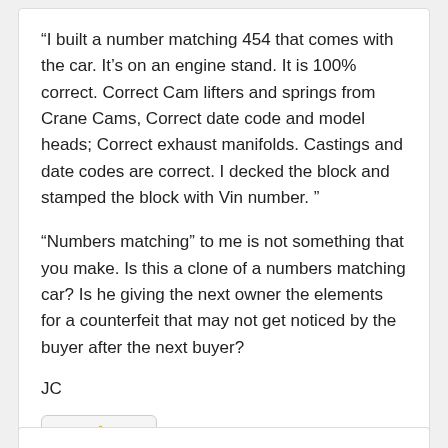“I built a number matching 454 that comes with the car. It’s on an engine stand. It is 100% correct. Correct Cam lifters and springs from Crane Cams, Correct date code and model heads; Correct exhaust manifolds. Castings and date codes are correct. I decked the block and stamped the block with Vin number. ”
“Numbers matching” to me is not something that you make. Is this a clone of a numbers matching car? Is he giving the next owner the elements for a counterfeit that may not get noticed by the buyer after the next buyer?
JC
[Figure (other): Like button (thumbs up icon) and Reply link]